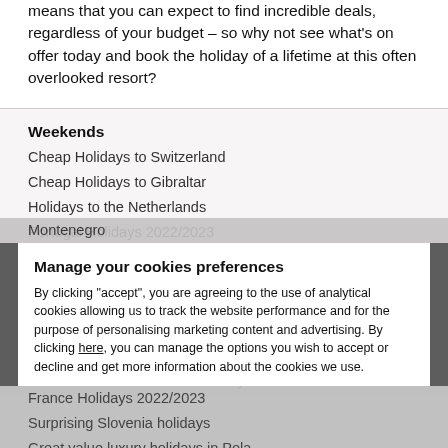…means that you can expect to find incredible deals, regardless of your budget – so why not see what's on offer today and book the holiday of a lifetime at this often overlooked resort?
Weekends
Cheap Holidays to Switzerland
Cheap Holidays to Gibraltar
Holidays to the Netherlands
Portugal Holidays 2022/2023
Cheap City Breaks in Italy
France Holidays 2022/2023
Great value luxury holidays in Poland - a country full of surprises!
Denmark holidays
Action and adventure with holidays to Romania
Manage your cookies preferences
By clicking "accept", you are agreeing to the use of analytical cookies allowing us to track the website performance and for the purpose of personalising marketing content and advertising. By clicking here, you can manage the options you wish to accept or decline and get more information about the cookies we use.
Montenegro
France Holidays 2022/2023
Surprising Slovenia holidays
Great value luxury holidays in Pola…
Inscrivez-vous gratuitement